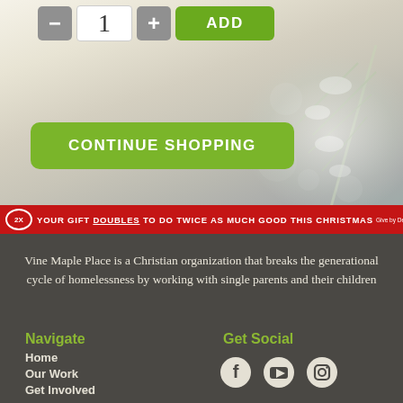[Figure (screenshot): Quantity selector with minus button, input field showing '1', plus button, and green ADD button]
[Figure (screenshot): Green 'CONTINUE SHOPPING' button over bokeh winter background with snowy pine branches]
[Figure (infographic): Red banner with 2X badge stating: YOUR GIFT DOUBLES TO DO TWICE AS MUCH GOOD THIS CHRISTMAS, Give by Dec. 25]
Vine Maple Place is a Christian organization that breaks the generational cycle of homelessness by working with single parents and their children
Navigate
Home
Our Work
Get Involved
Get Social
[Figure (infographic): Social media icons: Facebook, YouTube, Instagram]